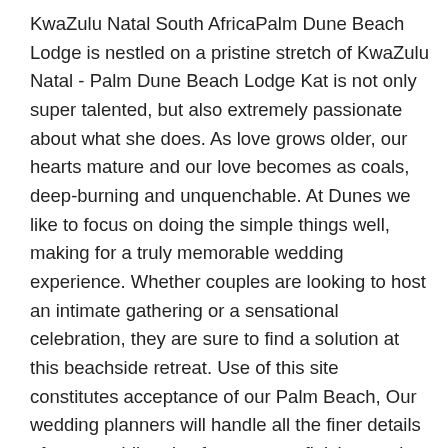KwaZulu Natal South AfricaPalm Dune Beach Lodge is nestled on a pristine stretch of KwaZulu Natal - Palm Dune Beach Lodge Kat is not only super talented, but also extremely passionate about what she does. As love grows older, our hearts mature and our love becomes as coals, deep-burning and unquenchable. At Dunes we like to focus on doing the simple things well, making for a truly memorable wedding experience. Whether couples are looking to host an intimate gathering or a sensational celebration, they are sure to find a solution at this beachside retreat. Use of this site constitutes acceptance of our Palm Beach, Our wedding planners will handle all the finer details of your wedding day from start to finish ensuring a smooth organic process. By submitting this form you are registering and agreeing to the Terms and Conditions. Suit: Saba. Thanks Carly! Thousands of couples trust us every day to find their wedding needs. Hair: Mels Hair & Beauty 2108. It was so lovely to be part of your day. Ocean views outside and a lawn for people to chill. Food was Brilliant, all guest loved the food. She